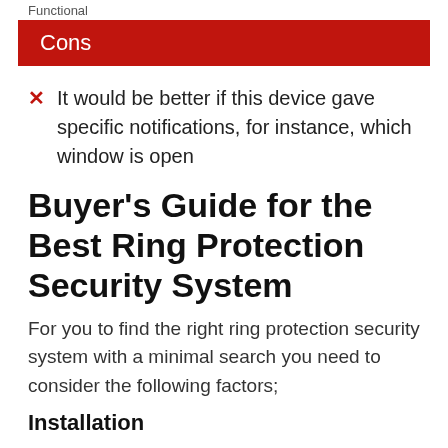Functional
Cons
It would be better if this device gave specific notifications, for instance, which window is open
Buyer's Guide for the Best Ring Protection Security System
For you to find the right ring protection security system with a minimal search you need to consider the following factors;
Installation